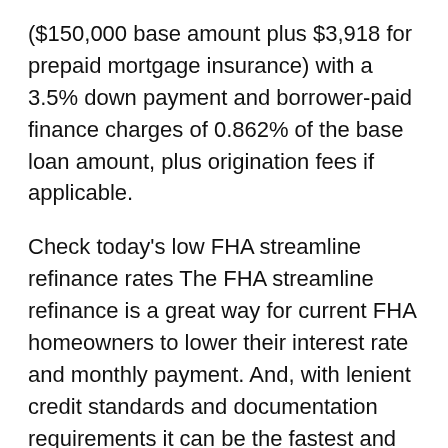($150,000 base amount plus $3,918 for prepaid mortgage insurance) with a 3.5% down payment and borrower-paid finance charges of 0.862% of the base loan amount, plus origination fees if applicable.
Check today's low FHA streamline refinance rates The FHA streamline refinance is a great way for current FHA homeowners to lower their interest rate and monthly payment. And, with lenient credit standards and documentation requirements it can be the fastest and most cost effective options to refinance an FHA loan.
FHA Loan: Rate is fixed. The payment on a $203,500, 30-year fixed rate loan at 3.50% and 76.22% loan-to-value (LTV) is $1045.98 with 2 Points due at closing. Payment includes a one time upfront mortgage insurance premium (MIP) at 1.75% of the base loan amount and a monthly